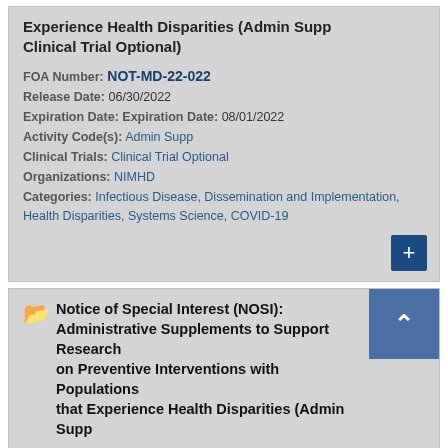Experience Health Disparities (Admin Supp Clinical Trial Optional)
FOA Number: NOT-MD-22-022
Release Date: 06/30/2022
Expiration Date: Expiration Date: 08/01/2022
Activity Code(s): Admin Supp
Clinical Trials: Clinical Trial Optional
Organizations: NIMHD
Categories: Infectious Disease, Dissemination and Implementation, Health Disparities, Systems Science, COVID-19
Notice of Special Interest (NOSI): Administrative Supplements to Support Research on Preventive Interventions with Populations that Experience Health Disparities (Admin Supp